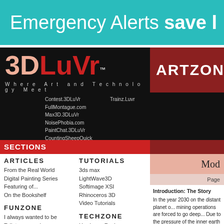[Figure (infographic): Teal/cyan banner with text 'Emergency Alerts save l' (partially cut off) in white]
[Figure (logo): 3DLuVr logo - '3D' in salmon/peach, 'LuVr' in dark red, with TM symbol, on black background]
Where Art and Technology Meet
Contest.3DLuVr  Trainz.Luvr
FullMontague.com
Max3D.3DLuVr   NoisePhobia.com
PaintChat.3DLuVr  CountingSheepQuick
WWW.3DLuVr
ARTZONE
SECTIONS
ARTICLES
From the Real World
Digital Painting Series
Featuring of...
On the Bookshelf
TUTORIALS
3ds max
LightWave3D
Softimage XSI
Rhinoceros 3D
Video Tutorials
FUNZONE
I always wanted to be
Talk to an employer
Why Ask "Why"
TECHZONE
Hardware Reviews
Software Reviews
Benchmarking
Q&A, Tips & Tricks
Mod
Page
Introduction: The Story
In the year 2030 on the distant planet o... mining operations are forced to go deep... Due to the pressure of the inner earth a... the bottom of the mines. This called fo...